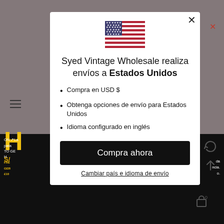[Figure (screenshot): US flag emoji/image displayed at top center of modal dialog]
Syed Vintage Wholesale realiza envíos a Estados Unidos
Compra en USD $
Obtenga opciones de envío para Estados Unidos
Idioma configurado en inglés
Compra ahora
Cambiar país e idioma de envío